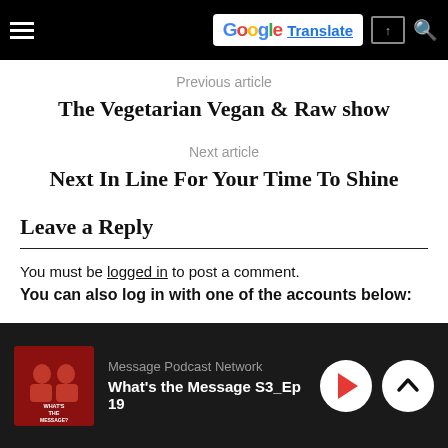Navigation bar with hamburger menu and Google Translate button
Previous article
The Vegetarian Vegan & Raw show
Next article
Next In Line For Your Time To Shine
Leave a Reply
You must be logged in to post a comment.
You can also log in with one of the accounts below:
Message Podcast Network — What's the Message S3_Ep 19